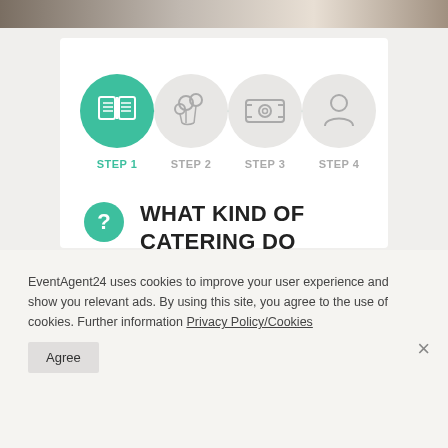[Figure (infographic): 4-step progress indicator with STEP 1 (open book icon, teal/active), STEP 2 (balloons icon, grey), STEP 3 (money icon, grey), STEP 4 (person icon, grey)]
WHAT KIND OF CATERING DO YOU NEED?
EventAgent24 uses cookies to improve your user experience and show you relevant ads. By using this site, you agree to the use of cookies. Further information Privacy Policy/Cookies
Agree